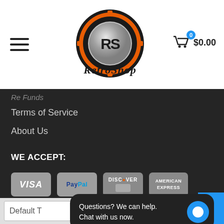[Figure (logo): RetroShop logo — a poker chip styled emblem with orange and black colors, with 'RS' monogram in center and 'RetroShop' in stylized script below]
$0.00
Re Funds
Terms of Service
About Us
WE ACCEPT:
[Figure (infographic): Payment method icons: VISA, PayPal, Discover, American Express]
Questions? We can help.
Chat with us now.
Default T
to cart